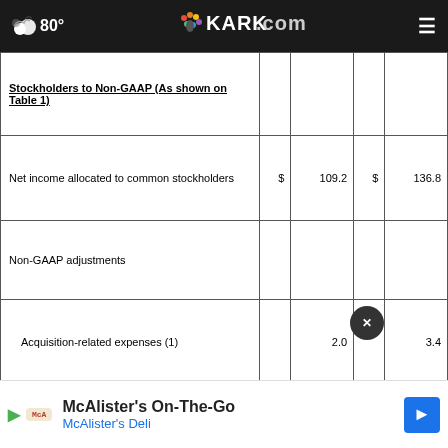80° KARK.com
|  | $ |  | $ |  |
| --- | --- | --- | --- | --- |
| Stockholders to Non-GAAP (As shown on Table 1) |  |  |  |  |
| Net income allocated to common stockholders | $ | 109.2 | $ | 136.8 |
| Non-GAAP adjustments |  |  |  |  |
|     Acquisition-related expenses (1) |  | 2.0 |  | 3.4 |
|     Investment establishment costs (2) |  | 3.0 |  | — |
|     Amortization of acquired intangible assets (3) |  |  |  | 32.9 |
| Total N... |  |  |  | 36.3 |